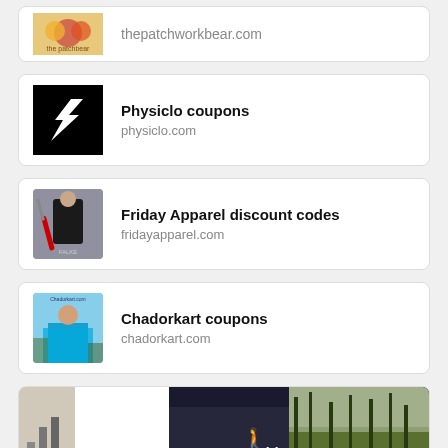[Figure (screenshot): Partial card at top showing thepatchworkbear.com logo and URL]
thepatchworkbear.com
[Figure (logo): Physiclo brand logo - white P shape on black background]
Physiclo coupons
physiclo.com
[Figure (photo): Photo of person in black hoodie holding red lightsaber]
Friday Apparel discount codes
fridayapparel.com
[Figure (photo): Photo of woman in blue sari]
Chadorkart coupons
chadorkart.com
[Figure (screenshot): Partial card at bottom with ad overlay showing Hold and Move game advertisement]
Hold and Move